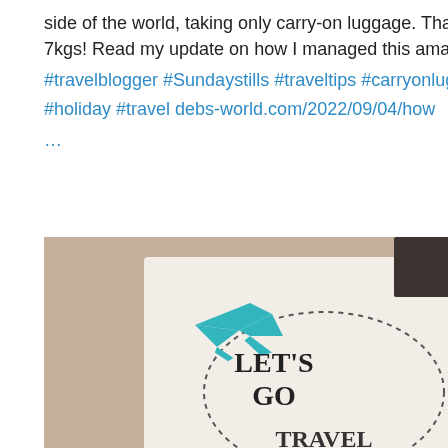side of the world, taking only carry-on luggage. That's only 7kgs! Read my update on how I managed this amazing feat!!
#travelblogger #Sundaystills #traveltips #carryonluggage #holiday #travel debs-world.com/2022/09/04/how …
[Figure (photo): Photo of a paper with a teal airplane cutout and dotted circle path with text 'LET'S GO TRAVEL']
debs-world.com
How I travelled to the other side of the world for a mont...
8